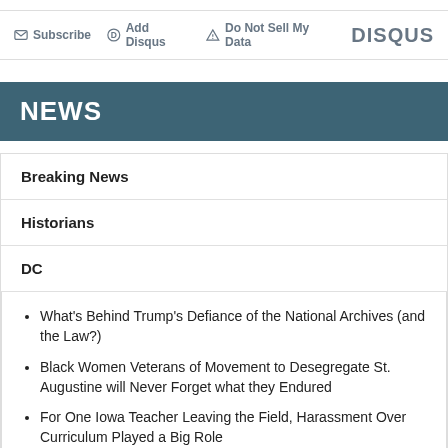Subscribe  Add Disqus  Do Not Sell My Data   DISQUS
NEWS
Breaking News
Historians
DC
What's Behind Trump's Defiance of the National Archives (and the Law?)
Black Women Veterans of Movement to Desegregate St. Augustine will Never Forget what they Endured
For One Iowa Teacher Leaving the Field, Harassment Over Curriculum Played a Big Role
PEN America: The Nation's Censored Classrooms
The Pre-Civil War Origins of Texas's Abortion Laws